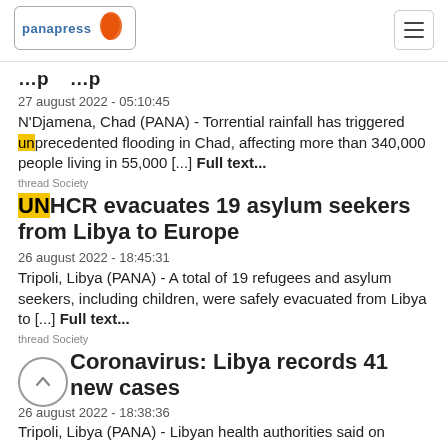panapress
[partially visible article title]
27 august 2022 - 05:10:45
N'Djamena, Chad (PANA) - Torrential rainfall has triggered unprecedented flooding in Chad, affecting more than 340,000 people living in 55,000 [...] Full text...
thread Society
UNHCR evacuates 19 asylum seekers from Libya to Europe
26 august 2022 - 18:45:31
Tripoli, Libya (PANA) - A total of 19 refugees and asylum seekers, including children, were safely evacuated from Libya to [...] Full text...
thread Society
Coronavirus: Libya records 41 new cases
26 august 2022 - 18:38:36
Tripoli, Libya (PANA) - Libyan health authorities said on